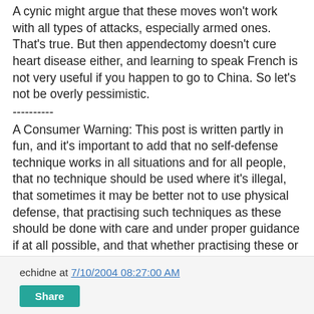A cynic might argue that these moves won't work with all types of attacks, especially armed ones. That's true. But then appendectomy doesn't cure heart disease either, and learning to speak French is not very useful if you happen to go to China. So let's not be overly pessimistic.
----------
A Consumer Warning: This post is written partly in fun, and it's important to add that no self-defense technique works in all situations and for all people, that no technique should be used where it's illegal, that sometimes it may be better not to use physical defense, that practising such techniques as these should be done with care and under proper guidance if at all possible, and that whether practising these or any other techniques is advisable depends on many factors, including the practitioner's health status. Consult a physician if you are in doubt. Add here any other warning that makes me totally free of any and all misuses of such techniques...
echidne at 7/10/2004 08:27:00 AM